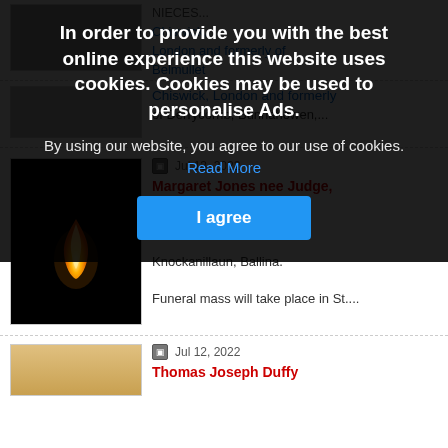[Figure (screenshot): Website page showing obituary listings with a cookie consent overlay banner. The overlay is a dark semi-transparent modal with bold white text reading 'In order to provide you with the best online experience this website uses cookies. Cookies may be used to personalise Ads.' with a blue 'I agree' button. Behind the overlay are two obituary listings with candle/photo thumbnails, dates, red title links, and text excerpts.]
NIECES...
Chiswick, London and formerly of Belmullet
Howard (nee Howard)
Chiswick, London and formerly of Derrycorrib, Bunnahowen,...
Jul 13, 2022
Margaret Jones nee Judge, Knockanillaun, Ballina
Margaret Jones nee Judge,

Knockanillaun, Ballina.

Funeral mass will take place in St....
Jul 12, 2022
Thomas Joseph Duffy
In order to provide you with the best online experience this website uses cookies. Cookies may be used to personalise Ads.
By using our website, you agree to our use of cookies. Read More
I agree